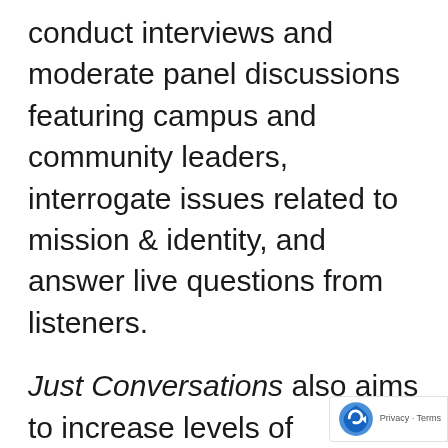conduct interviews and moderate panel discussions featuring campus and community leaders, interrogate issues related to mission & identity, and answer live questions from listeners.
Just Conversations also aims to increase levels of awareness, while normalizing conversations on all forms of marginalization and oppression. There's room for